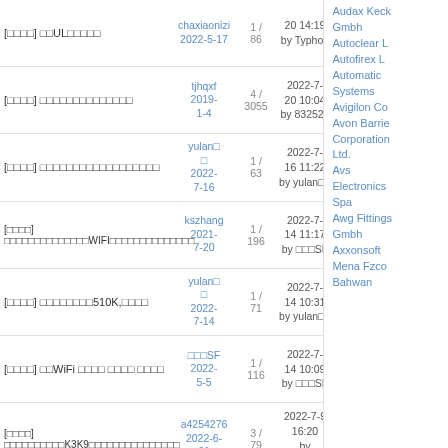| Title | Author/Date | Count | Last Post | Sidebar |
| --- | --- | --- | --- | --- |
| [□□□□] □□UL□□□□□ | chaxiaonizi 2022-5-17 | 1/86 | 20 14:19 by Typhon |
| [□□□□] □□□□□□□□□□□□□□ | tjhqxf 2019-1-4 | 4/3055 | 2022-7-20 10:04 by 832526 |
| [□□□□] □□□□□□□□□□□□□□□□□□ | yulan□□ 2022-7-16 | 1/63 | 2022-7-16 11:22 by yulan□□ |
| [□□□□] □□□□□□□□□□□□□□WIFI□□□□□□□□□□□□□□ | kszhang 2021-7-20 | 1/196 | 2022-7-14 11:17 by □□□SF |
| [□□□□] □□□□□□□□510K,□□□□ | yulan□□ 2022-7-14 | 1/71 | 2022-7-14 10:31 by yulan□□ |
| [□□□□] □□WiFi □□□□ □□□□ □□□□ | □□□SF 2022-5-5 | 1/116 | 2022-7-14 10:09 by □□□SF |
| [□□□□] □□□□□□□□□□K3K9□□□□□□□□□□□□□□□ | a4254276 2022-6-21 | 3/79 | 2022-7-9 16:20 by a4254276 |
| [□□□□] □□□□□□□ce□□□□□□□□ | aibowen 2022-7-8 | 1/63 | 2022-7-8 17:02 by aibowen |
Audax Keck
Gmbh
Autoclear L
Autofirex L
Automatic Systems
Avigilon Co
Avon Barrier Corporation Ltd.
Avs Electronics Spa
Awg Fittings Gmbh
Axxonsoft
Mena Fzco
Bahwan